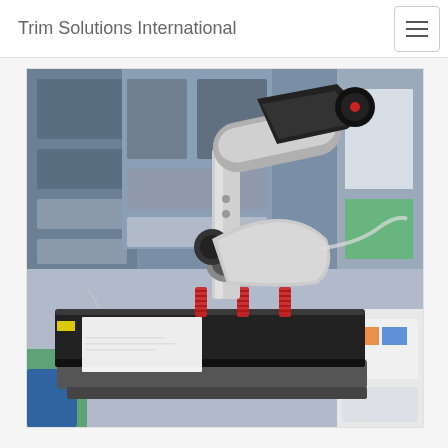Trim Solutions International
[Figure (photo): A heat press machine in an industrial/workshop setting. The machine has a large flat black pressing platen, mechanical arm with gray and black housing, red coil springs, and what appears to be a paper sheet on the platen. Background shows office equipment, shelving units, and green and white fabric/bags.]